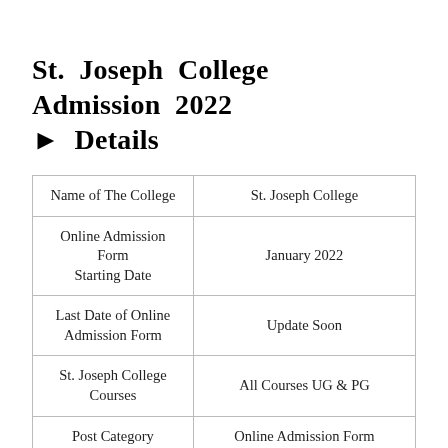St. Joseph College Admission 2022 ► Details
| Name of The College | St. Joseph College |
| Online Admission Form Starting Date | January 2022 |
| Last Date of Online Admission Form | Update Soon |
| St. Joseph College Courses | All Courses UG & PG |
| Post Category | Online Admission Form |
| Official Website Link | www.sjc.ac.in |
St. Joseph College UG & PG